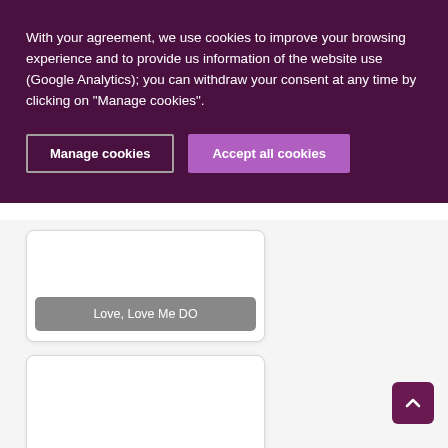With your agreement, we use cookies to improve your browsing experience and to provide us information of the website use (Google Analytics); you can withdraw your consent at any time by clicking on "Manage cookies".
Manage cookies
Accept all cookies
Love, Love Me DO
I Love my Life